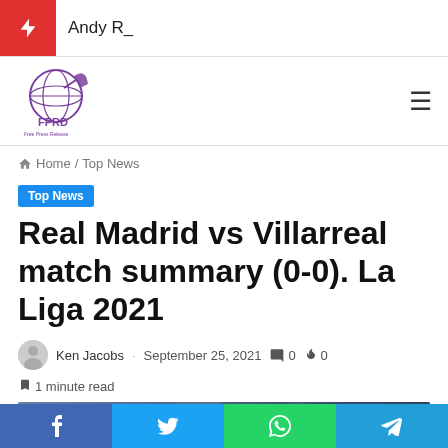Andy R_
[Figure (logo): FPRD Free Press Release Distribution globe logo with rocket]
Home / Top News
Top News
Real Madrid vs Villarreal match summary (0-0). La Liga 2021
Ken Jacobs · September 25, 2021 · 0 · 0 · 1 minute read
[Figure (photo): Soccer player in white Real Madrid kit, blurred crowd background]
f  t  WhatsApp  Telegram share buttons